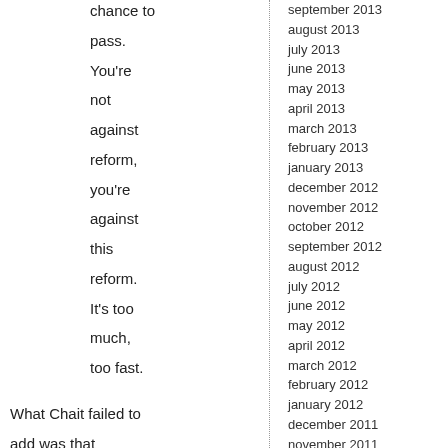chance to pass. You're not against reform, you're against this reform. It's too much, too fast.
What Chait failed to add was that incrementalism isn't dramatic enough or historic enough
september 2013
august 2013
july 2013
june 2013
may 2013
april 2013
march 2013
february 2013
january 2013
december 2012
november 2012
october 2012
september 2012
august 2012
july 2012
june 2012
may 2012
april 2012
march 2012
february 2012
january 2012
december 2011
november 2011
october 2011
september 2011
august 2011
july 2011
june 2011
may 2011
april 2011
march 2011
february 2011
january 2011